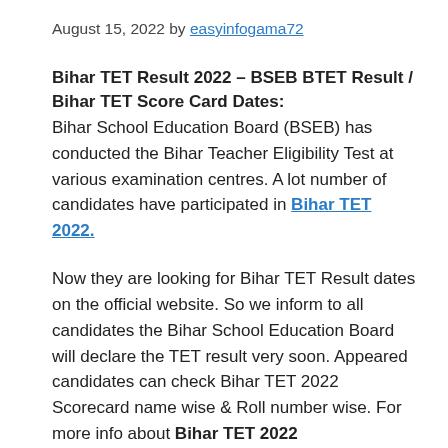August 15, 2022 by easyinfogama72
Bihar TET Result 2022 – BSEB BTET Result / Bihar TET Score Card Dates:
Bihar School Education Board (BSEB) has conducted the Bihar Teacher Eligibility Test at various examination centres. A lot number of candidates have participated in Bihar TET 2022.
Now they are looking for Bihar TET Result dates on the official website. So we inform to all candidates the Bihar School Education Board will declare the TET result very soon. Appeared candidates can check Bihar TET 2022 Scorecard name wise & Roll number wise. For more info about Bihar TET 2022